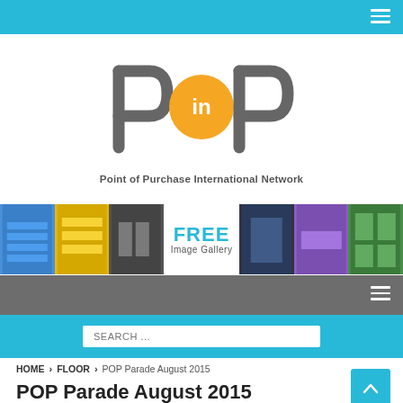[Figure (logo): POPin - Point of Purchase International Network logo with large POP letters and orange circle with 'in' text]
[Figure (photo): FREE Image Gallery banner with multiple retail POP display thumbnail photos]
SEARCH ...
HOME > FLOOR > POP Parade August 2015
POP Parade August 2015